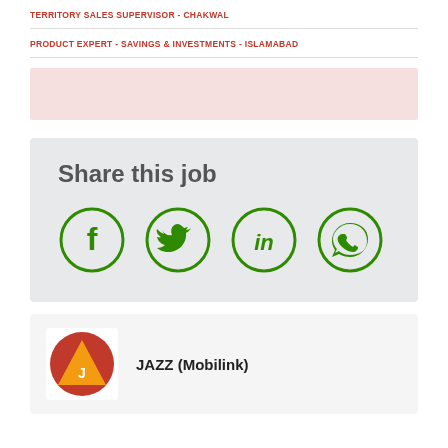TERRITORY SALES SUPERVISOR - CHAKWAL
PRODUCT EXPERT - SAVINGS & INVESTMENTS - ISLAMABAD
[Figure (other): Pink/light red banner advertisement placeholder]
Share this job
[Figure (infographic): Social sharing icons: Facebook, Twitter, LinkedIn, WhatsApp — green circle outlines]
JAZZ (Mobilink)